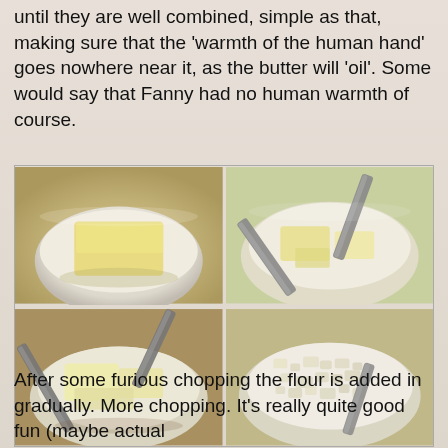until they are well combined, simple as that, making sure that the 'warmth of the human hand' goes nowhere near it, as the butter will 'oil'. Some would say that Fanny had no human warmth of course.
[Figure (photo): Four-panel photo grid showing stages of rubbing butter and flour together: top-left shows butter in a white bowl, top-right shows two knives cutting the butter, bottom-left shows knives continuing to cut the mixture, bottom-right shows a crumbly flour-butter mixture.]
After some furious chopping the flour is added in gradually. More chopping. It's really quite good fun (maybe actual